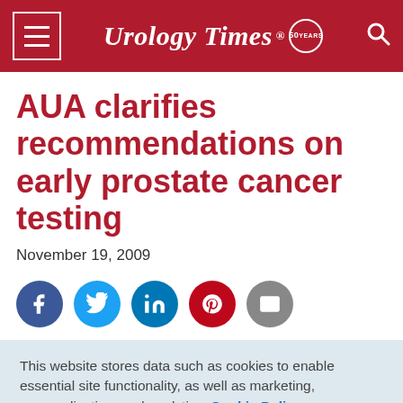Urology Times 50
AUA clarifies recommendations on early prostate cancer testing
November 19, 2009
[Figure (infographic): Social sharing icons row: Facebook, Twitter, LinkedIn, Pinterest, Email]
This website stores data such as cookies to enable essential site functionality, as well as marketing, personalization, and analytics. Cookie Policy
Accept
Deny